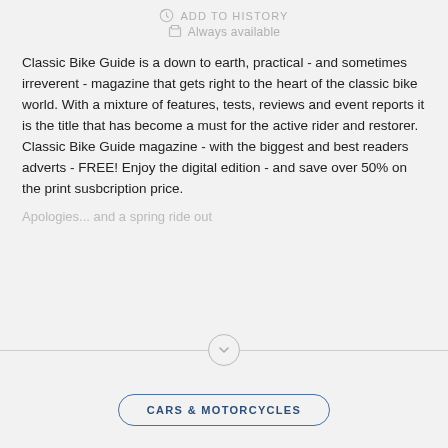ADD TO HISTORY
Always available
Classic Bike Guide is a down to earth, practical - and sometimes irreverent - magazine that gets right to the heart of the classic bike world. With a mixture of features, tests, reviews and event reports it is the title that has become a must for the active rider and restorer. Classic Bike Guide magazine - with the biggest and best readers adverts - FREE! Enjoy the digital edition - and save over 50% on the print susbcription price.
Apologies... and a spring ride out
CARS & MOTORCYCLES